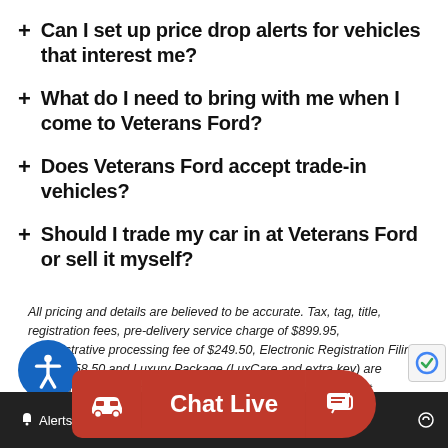+ Can I set up price drop alerts for vehicles that interest me?
+ What do I need to bring with me when I come to Veterans Ford?
+ Does Veterans Ford accept trade-in vehicles?
+ Should I trade my car in at Veterans Ford or sell it myself?
All pricing and details are believed to be accurate. Tax, tag, title, registration fees, pre-delivery service charge of $899.95, administrative processing fee of $249.50, Electronic Registration Filing Fee of $58.50 and Luxury Package (LuxCare and extra key) are additional. Retail prices on used vehicles are based on market demand and supply; and obtained using sites including but not limited to NADA, KBB, and Book. Prices are subject to change. Applicable warranty coverage as vary by vehicle. Pictures are for illustration purposes only and are subject to prior sale. Used price be
Alerts   Sav...   Chat Live